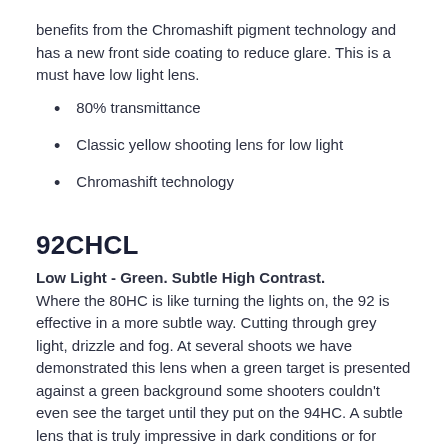benefits from the Chromashift pigment technology and has a new front side coating to reduce glare. This is a must have low light lens.
80% transmittance
Classic yellow shooting lens for low light
Chromashift technology
92CHCL
Low Light - Green. Subtle High Contrast. Where the 80HC is like turning the lights on, the 92 is effective in a more subtle way. Cutting through grey light, drizzle and fog. At several shoots we have demonstrated this lens when a green target is presented against a green background some shooters couldn't even see the target until they put on the 94HC. A subtle lens that is truly impressive in dark conditions or for those that need more light. Replacing the very popular 94HC, the 92 adds the latest Zeiss Chromashift tech to enhance orange with an anti-glare finish.
92% transmittance
Subtle low light lens
Perfect for both game and clay shooting